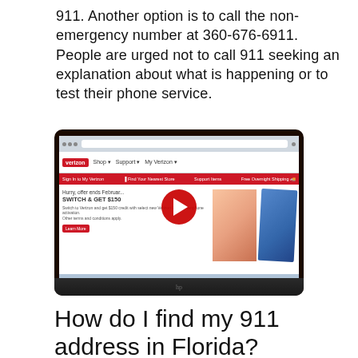911. Another option is to call the non-emergency number at 360-676-6911. People are urged not to call 911 seeking an explanation about what is happening or to test their phone service.
[Figure (screenshot): A laptop screen showing the Verizon website with a YouTube play button overlay. The Verizon site shows navigation with Shop, Support, My Verizon, and a promotion reading 'Hurry, offer ends Februar... SWITCH & GET $150'. There are images of people holding smartphones.]
How do I find my 911 address in Florida?